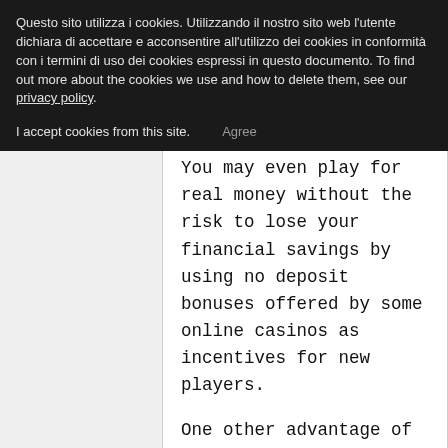Questo sito utilizza i cookies. Utilizzando il nostro sito web l'utente dichiara di accettare e acconsentire all'utilizzo dei cookies in conformità con i termini di uso dei cookies espressi in questo documento. To find out more about the cookies we use and how to delete them, see our privacy policy.
I accept cookies from this site.   Agree
You may even play for real money without the risk to lose your financial savings by using no deposit bonuses offered by some online casinos as incentives for new players.
One other advantage of on-line casinos might not be so visible, but it's a very important one. The chances of profitable a game at on-line casinos are frequently better.